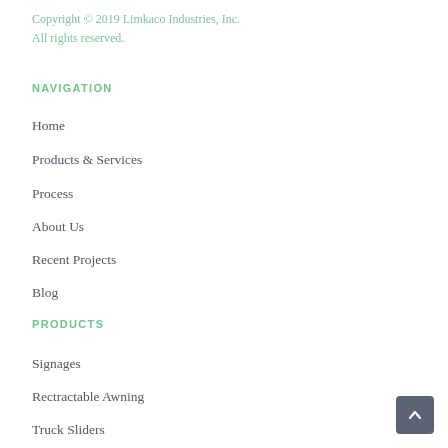Copyright © 2019 Limkaco Industries, Inc.
All rights reserved.
NAVIGATION
Home
Products & Services
Process
About Us
Recent Projects
Blog
PRODUCTS
Signages
Rectractable Awning
Truck Sliders